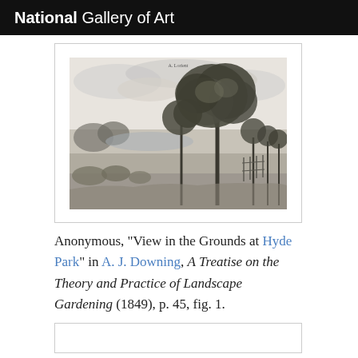National Gallery of Art
[Figure (illustration): Black and white engraving showing a landscape view with large trees in the foreground and open grounds extending to the background, with fence posts and cloudy sky. Caption area above suggests text 'A. CORNET' or similar.]
Anonymous, "View in the Grounds at Hyde Park" in A. J. Downing, A Treatise on the Theory and Practice of Landscape Gardening (1849), p. 45, fig. 1.